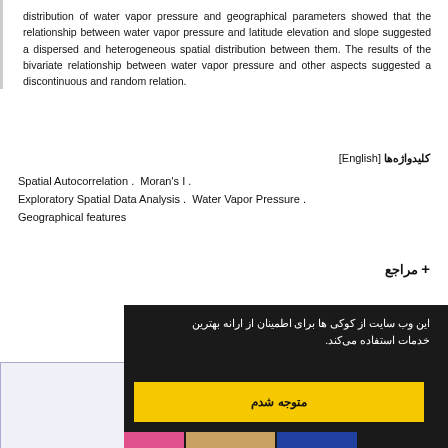distribution of water vapor pressure and geographical parameters showed that the relationship between water vapor pressure and latitude elevation and slope suggested a dispersed and heterogeneous spatial distribution between them. The results of the bivariate relationship between water vapor pressure and other aspects suggested a discontinuous and random relation.
کلیدواژه‌ها [English]
Spatial Autocorrelation . Moran's I . Exploratory Spatial Data Analysis . Water Vapor Pressure . Geographical features
+ مراجع
[Figure (screenshot): Cookie consent overlay with dark background showing Persian text about cookie usage and a yellow button labeled 'متوجه شدم']